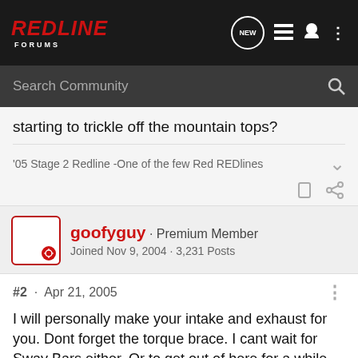[Figure (screenshot): RedLine Forums navigation bar with logo, new messages bubble, list icon, user icon, and more options icon]
Search Community
starting to trickle off the mountain tops?
'05 Stage 2 Redline -One of the few Red REDlines
goofyguy · Premium Member
Joined Nov 9, 2004 · 3,231 Posts
#2 · Apr 21, 2005
I will personally make your intake and exhaust for you. Dont forget the torque brace. I cant wait for Sway Bars either. Or to get out of here for a while so I can go to UPS and make a